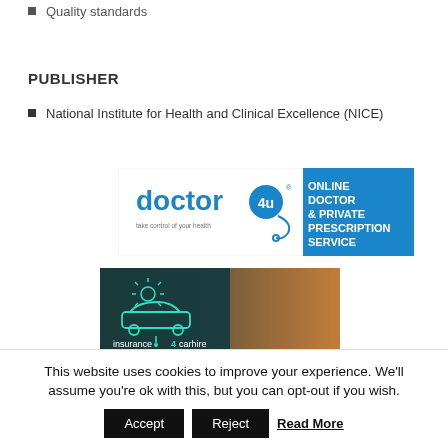Quality standards
PUBLISHER
National Institute for Health and Clinical Excellence (NICE)
[Figure (logo): doctor4u logo with blue box reading ONLINE DOCTOR & PRIVATE PRESCRIPTION SERVICE]
[Figure (photo): insurance4carhire advertisement banner with car icon and person in background]
This website uses cookies to improve your experience. We'll assume you're ok with this, but you can opt-out if you wish. Accept Reject Read More